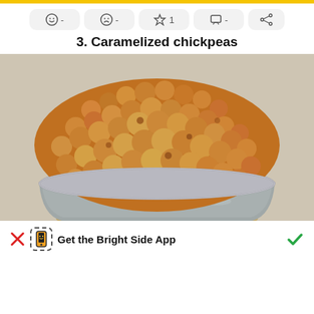☺ -   ☹ -   ☆ 1   ☐ -   ⋘
3. Caramelized chickpeas
[Figure (photo): A metal bucket/bowl filled with caramelized golden-brown chickpeas, sitting on brown paper, with a light grey background.]
✕  [phone icon]  Get the Bright Side App  ✓